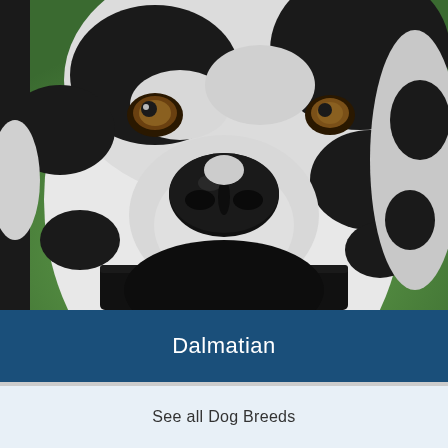[Figure (photo): Close-up photo of a Dalmatian dog face, black and white spotted coat, large black nose, brown eyes, green blurred background, wearing a dark collar]
Dalmatian
See all Dog Breeds